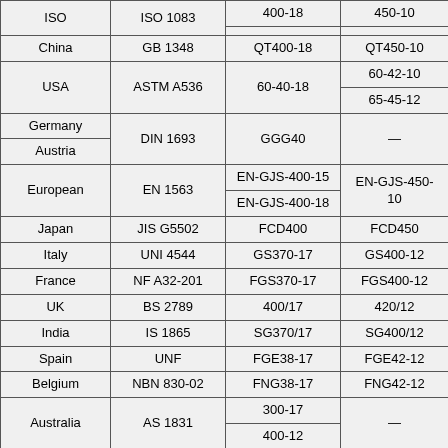| Country | Standard | Grade (lower) | Grade (higher) |
| --- | --- | --- | --- |
| ISO | ISO 1083 | 400-18 | 450-10 |
| China | GB 1348 | QT400-18 | QT450-10 |
| USA | ASTM A536 | 60-40-18 | 60-42-10 / 65-45-12 |
| Germany / Austria | DIN 1693 | GGG40 | — |
| European | EN 1563 | EN-GJS-400-15 / EN-GJS-400-18 | EN-GJS-450-10 |
| Japan | JIS G5502 | FCD400 | FCD450 |
| Italy | UNI 4544 | GS370-17 | GS400-12 |
| France | NF A32-201 | FGS370-17 | FGS400-12 |
| UK | BS 2789 | 400/17 | 420/12 |
| India | IS 1865 | SG370/17 | SG400/12 |
| Spain | UNF | FGE38-17 | FGE42-12 |
| Belgium | NBN 830-02 | FNG38-17 | FNG42-12 |
| Australia | AS 1831 | 300-17 / 400-12 | — |